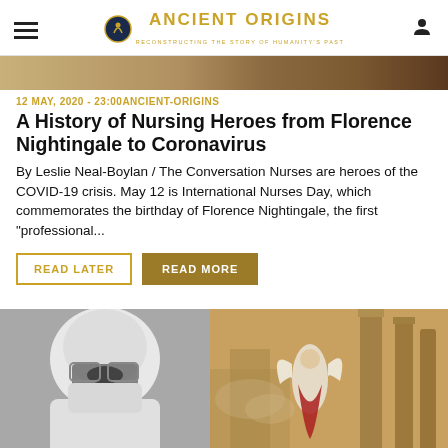Ancient Origins — Reconstructing the Story of Humanity's Past
[Figure (photo): Top portion of an article image, wooden/brown tones visible at top of page]
12 MAY, 2020 - 23:00 ANCIENT-ORIGINS
A History of Nursing Heroes from Florence Nightingale to Coronavirus
By Leslie Neal-Boylan / The Conversation Nurses are heroes of the COVID-19 crisis. May 12 is International Nurses Day, which commemorates the birthday of Florence Nightingale, the first "professional...
READ LATER   READ MORE
[Figure (photo): Bottom composite image: left side shows a person in white PPE/hazmat gear with goggles visible, right side shows a Renaissance-style painting with an angelic figure in red and white against ancient stone columns]